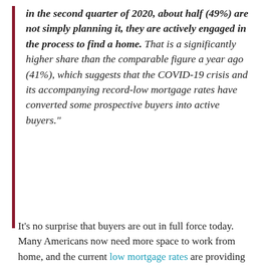in the second quarter of 2020, about half (49%) are not simply planning it, they are actively engaged in the process to find a home. That is a significantly higher share than the comparable figure a year ago (41%), which suggests that the COVID-19 crisis and its accompanying record-low mortgage rates have converted some prospective buyers into active buyers."
It’s no surprise that buyers are out in full force today. Many Americans now need more space to work from home, and the current low mortgage rates are providing